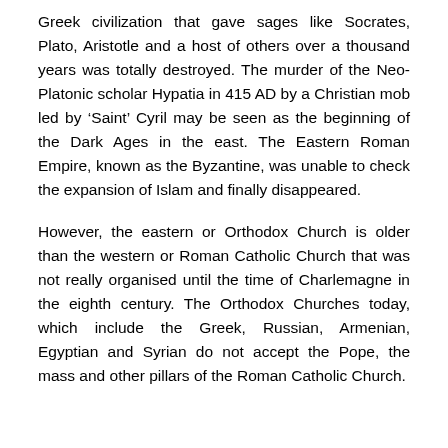Greek civilization that gave sages like Socrates, Plato, Aristotle and a host of others over a thousand years was totally destroyed. The murder of the Neo-Platonic scholar Hypatia in 415 AD by a Christian mob led by ‘Saint’ Cyril may be seen as the beginning of the Dark Ages in the east. The Eastern Roman Empire, known as the Byzantine, was unable to check the expansion of Islam and finally disappeared.
However, the eastern or Orthodox Church is older than the western or Roman Catholic Church that was not really organised until the time of Charlemagne in the eighth century. The Orthodox Churches today, which include the Greek, Russian, Armenian, Egyptian and Syrian do not accept the Pope, the mass and other pillars of the Roman Catholic Church.